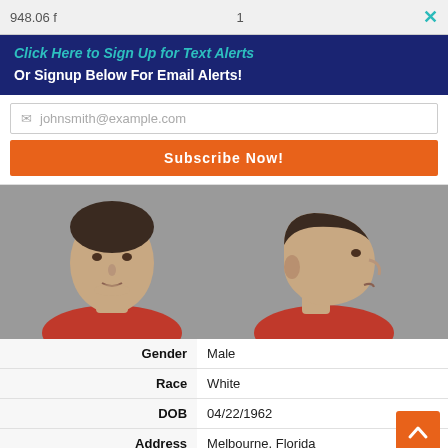948.06 f
1
✕
Click Here to Sign Up for Text Alerts
Or Signup Below For Email Alerts!
johnsmith@example.com
Subscribe Now!
[Figure (photo): Mugshot front view of a middle-aged white male in a red shirt]
[Figure (photo): Mugshot side profile view of a middle-aged white male in a red shirt]
| Field | Value |
| --- | --- |
| Gender | Male |
| Race | White |
| DOB | 04/22/1962 |
| Address | Melbourne, Florida |